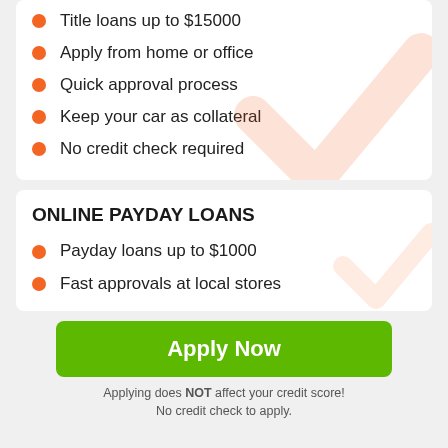Title loans up to $15000
Apply from home or office
Quick approval process
Keep your car as collateral
No credit check required
ONLINE PAYDAY LOANS
Payday loans up to $1000
Fast approvals at local stores
Apply Now
Applying does NOT affect your credit score! No credit check to apply.